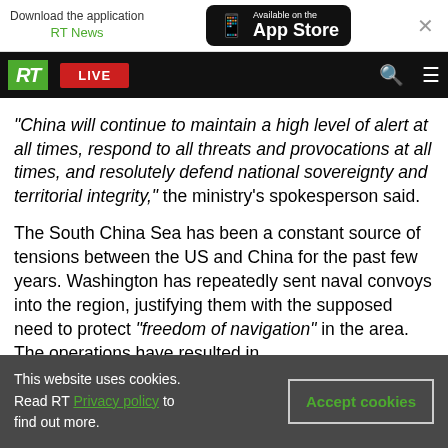Download the application RT News | Available on the App Store
RT LIVE [navigation bar]
"China will continue to maintain a high level of alert at all times, respond to all threats and provocations at all times, and resolutely defend national sovereignty and territorial integrity," the ministry's spokesperson said.
The South China Sea has been a constant source of tensions between the US and China for the past few years. Washington has repeatedly sent naval convoys into the region, justifying them with the supposed need to protect "freedom of navigation" in the area. The operations have resulted in
This website uses cookies. Read RT Privacy policy to find out more. Accept cookies